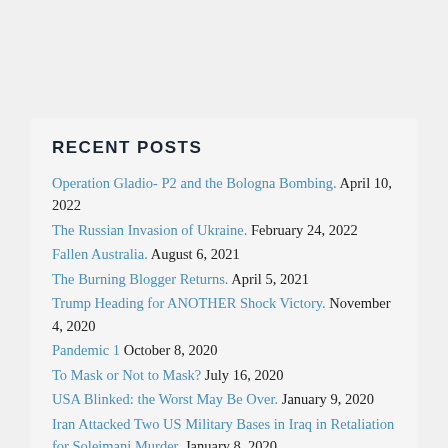RECENT POSTS
Operation Gladio- P2 and the Bologna Bombing. April 10, 2022
The Russian Invasion of Ukraine. February 24, 2022
Fallen Australia. August 6, 2021
The Burning Blogger Returns. April 5, 2021
Trump Heading for ANOTHER Shock Victory. November 4, 2020
Pandemic 1 October 8, 2020
To Mask or Not to Mask? July 16, 2020
USA Blinked: the Worst May Be Over. January 9, 2020
Iran Attacked Two US Military Bases in Iraq in Retaliation for Soleimani Murder. January 8, 2020
The Iraqi Parliament Just Approved Legislation